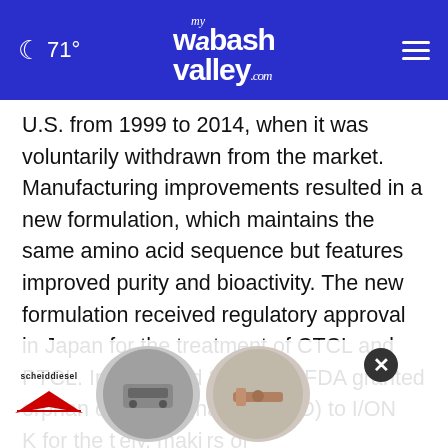71° mywabashvalley.com
U.S. from 1999 to 2014, when it was voluntarily withdrawn from the market. Manufacturing improvements resulted in a new formulation, which maintains the same amino acid sequence but features improved purity and bioactivity. The new formulation received regulatory approval in Japan for the treatment of CTCL and PTCL. In 2011 and 2013, the FDA granted orphan drug designation (ODD) to I/ONTAK for the t[reatment of CTCL and PTCL, respect]ely, maki[ng it potentially eligible for seven yea]rs of
[Figure (screenshot): Bottom ad bar with scheiddiesel logo and two circular ad images, plus a close (X) button]